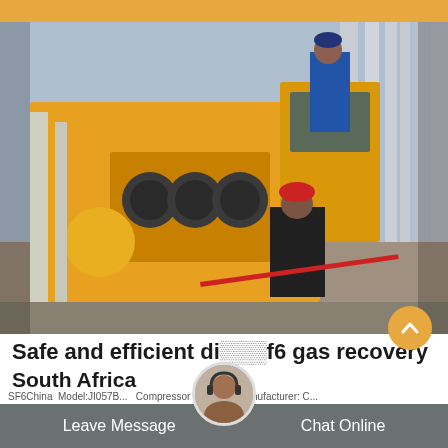[Figure (photo): Workers in safety gear (one in blue coveralls on top of equipment, one in black with red hard hat below) servicing a large yellow industrial SF6 gas recovery vehicle/machine at an industrial facility with metal pipes/columns visible in background.]
Safe and efficient di___f6 gas recovery
South Africa
Leave Message    Chat Online
SF6China  Model:JI057B...  Compressor Series...  Manufacturer: C...